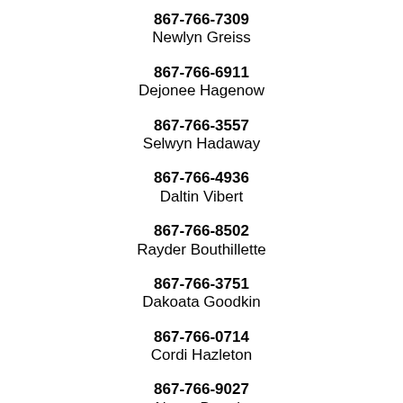867-766-7309
Newlyn Greiss
867-766-6911
Dejonee Hagenow
867-766-3557
Selwyn Hadaway
867-766-4936
Daltin Vibert
867-766-8502
Rayder Bouthillette
867-766-3751
Dakoata Goodkin
867-766-0714
Cordi Hazleton
867-766-9027
Nazor Bartels
867-766-5761